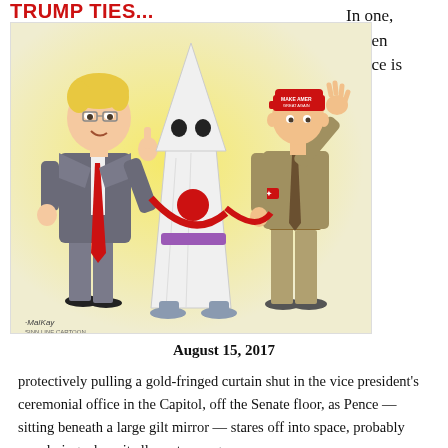TRUMP TIES...
In one, Karen Pence is
[Figure (illustration): Political cartoon showing three figures connected by a red tie: a caricature of Donald Trump on the left in a grey suit with a long red tie, a KKK figure in white robes in the center with the red tie wrapped around them, and a figure in a Nazi-style uniform with a MAGA cap giving a Nazi salute on the right. Artist signature reads 'MaIKay' at bottom left.]
August 15, 2017
protectively pulling a gold-fringed curtain shut in the vice president's ceremonial office in the Capitol, off the Senate floor, as Pence — sitting beneath a large gilt mirror — stares off into space, probably wondering where it all went wrong.